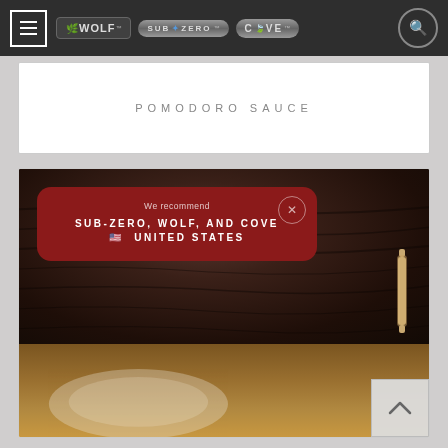Navigation bar with Wolf, Sub-Zero, Cove brand logos and search icon
POMODORO SAUCE
[Figure (photo): Dark wood background photo with rolling pin and food/pasta in lower portion]
We recommend
SUB-ZERO, WOLF, AND COVE
🇺🇸  UNITED STATES